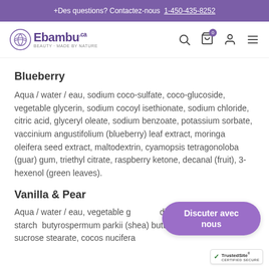Des questions? Contactez-nous 1-450-435-8252
[Figure (logo): Ebambu.ca logo with circular leaf icon]
Blueberry
Aqua / water / eau, sodium coco-sulfate, coco-glucoside, vegetable glycerin, sodium cocoyl isethionate, sodium chloride, citric acid, glyceryl oleate, sodium benzoate, potassium sorbate, vaccinium angustifolium (blueberry) leaf extract, moringa oleifera seed extract, maltodextrin, cyamopsis tetragonoloba (guar) gum, triethyl citrate, raspberry ketone, decanal (fruit), 3-hexenol (green leaves).
Vanilla & Pear
Aqua / water / eau, vegetable g... dicaprylyl ether, tapioca starch... butyrospermum parkii (shea) butter, st... alcohol, sucrose stearate, cocos nucifera...